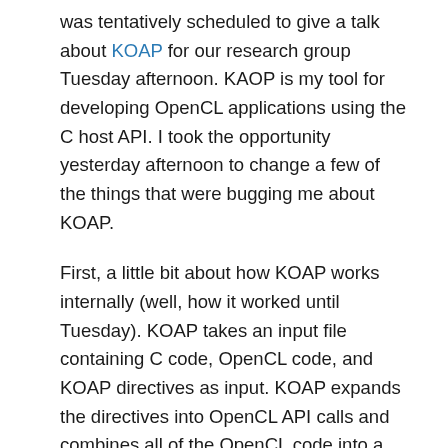was tentatively scheduled to give a talk about KOAP for our research group Tuesday afternoon. KAOP is my tool for developing OpenCL applications using the C host API. I took the opportunity yesterday afternoon to change a few of the things that were bugging me about KOAP.
First, a little bit about how KOAP works internally (well, how it worked until Tuesday). KOAP takes an input file containing C code, OpenCL code, and KOAP directives as input. KOAP expands the directives into OpenCL API calls and combines all of the OpenCL code into a string for compilation at runtime. KOAP does not use formal parsing methods. The parsing takes place over multiple passes and is very ad-hoc. KOAP reads the input into a single string. KOAP processes comments and KOAP includes (like C preprocessor includes) in this first step. KOAP then separates the OpenCL source from the C source and breaks the source strings into double-ended queues (STL deque) of strings, using newline characters as delimiters. KOAP expands directives one line at